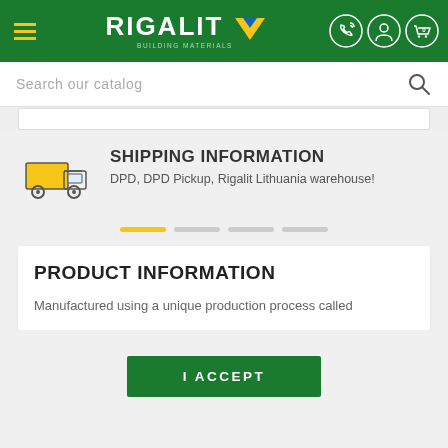[Figure (logo): Rigalit logo with green background, menu hamburger icon, phone/user/cart icons]
Search our catalog
SHIPPING INFORMATION
DPD, DPD Pickup, Rigalit Lithuania warehouse!
PRODUCT INFORMATION
Manufactured using a unique production process called
I ACCEPT